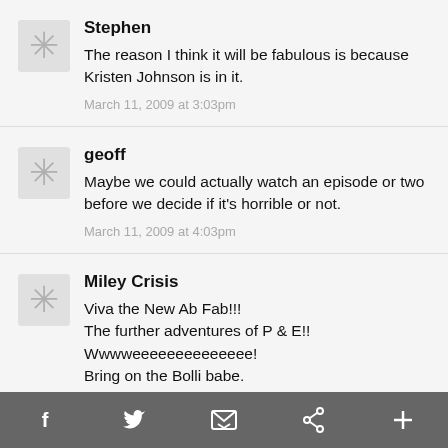Stephen
The reason I think it will be fabulous is because Kristen Johnson is in it.
March 11, 2009 at 3:03pm
geoff
Maybe we could actually watch an episode or two before we decide if it's horrible or not.
March 11, 2009 at 4:03pm
Miley Crisis
Viva the New Ab Fab!!!
The further adventures of P & E!!
Wwwweeeeeeeeeeeeee!
Bring on the Bolli babe.
f  twitter  email  pinterest  +